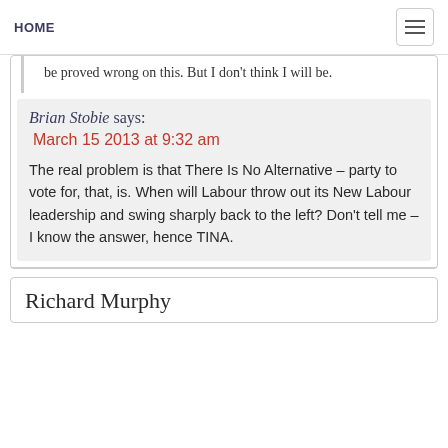HOME
be proved wrong on this. But I don't think I will be.
Brian Stobie says:
March 15 2013 at 9:32 am
The real problem is that There Is No Alternative – party to vote for, that, is. When will Labour throw out its New Labour leadership and swing sharply back to the left? Don't tell me – I know the answer, hence TINA.
Richard Murphy